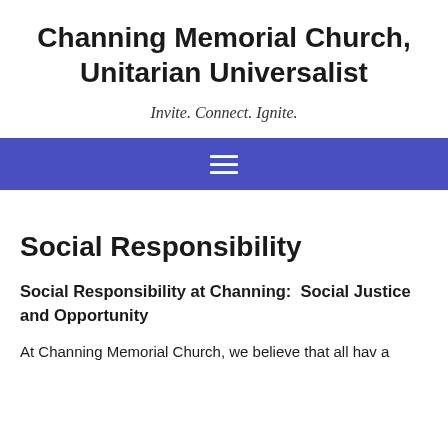Channing Memorial Church, Unitarian Universalist
Invite. Connect. Ignite.
[Figure (other): Blue navigation bar with hamburger menu icon (three horizontal white lines)]
Social Responsibility
Social Responsibility at Channing:  Social Justice and Opportunity
At Channing Memorial Church, we believe that all hav a